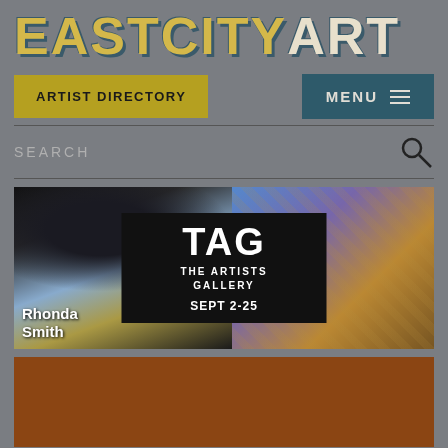EASTCITYART
ARTIST DIRECTORY
MENU
SEARCH
[Figure (screenshot): Featured gallery advertisement for The Artists Gallery (TAG) showing artwork by Rhonda Smith, SEPT 2-25]
[Figure (photo): Second content image, brown/rust colored artwork or photo]